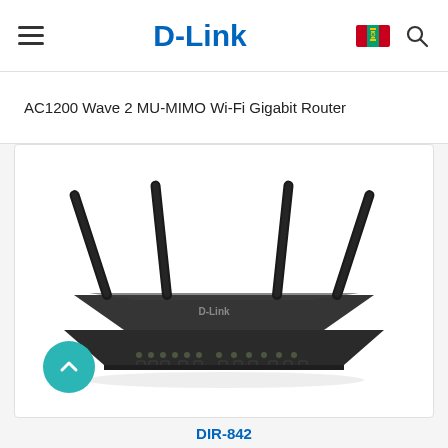D-Link
AC1200 Wave 2 MU-MIMO Wi-Fi Gigabit Router
[Figure (photo): D-Link AC1200 Wave 2 MU-MIMO Wi-Fi Gigabit Router (DIR-842) product photo showing a black router with four antennas viewed from the front]
DIR-842